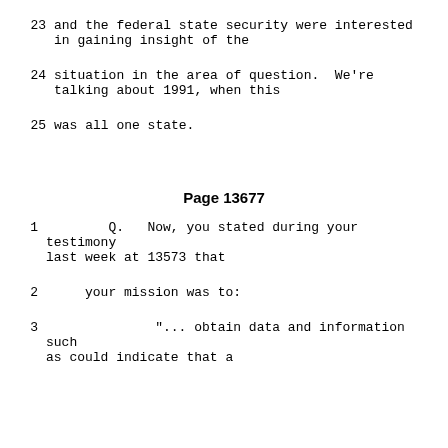23    and the federal state security were interested in gaining insight of the
24    situation in the area of question.  We're talking about 1991, when this
25    was all one state.
Page 13677
1         Q.   Now, you stated during your testimony last week at 13573 that
2     your mission was to:
3              "... obtain data and information such as could indicate that a